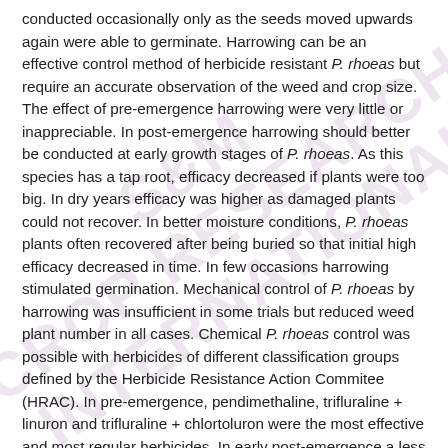conducted occasionally only as the seeds moved upwards again were able to germinate. Harrowing can be an effective control method of herbicide resistant P. rhoeas but require an accurate observation of the weed and crop size. The effect of pre-emergence harrowing were very little or inappreciable. In post-emergence harrowing should better be conducted at early growth stages of P. rhoeas. As this species has a tap root, efficacy decreased if plants were too big. In dry years efficacy was higher as damaged plants could not recover. In better moisture conditions, P. rhoeas plants often recovered after being buried so that initial high efficacy decreased in time. In few occasions harrowing stimulated germination. Mechanical control of P. rhoeas by harrowing was insufficient in some trials but reduced weed plant number in all cases. Chemical P. rhoeas control was possible with herbicides of different classification groups defined by the Herbicide Resistance Action Commitee (HRAC). In pre-emergence, pendimethaline, trifluraline + linuron and trifluraline + chlortoluron were the most effective and most regular herbicides. In early post-emergence a less constant but quite high control efficacy was achieved with MCPA + diflufenican, isoproturon + diflufenican and tribenuron-methyl + metribuzine. In late post-emergence, mixtures containing ioxinil or bromoxinil, especially bromoxinil